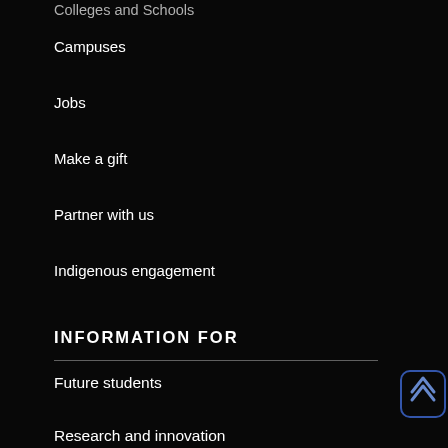Colleges and Schools
Campuses
Jobs
Make a gift
Partner with us
Indigenous engagement
INFORMATION FOR
Future students
Research and innovation
Industry
International
Community and alumni
Current students
Current staff
UNIVERSITY OF NEWCASTLE
University Drive, Callaghan